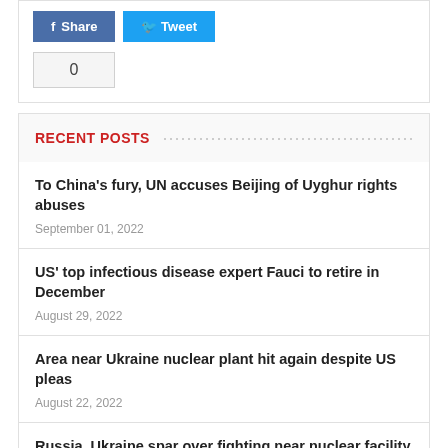Share | Tweet | 0
RECENT POSTS
To China’s fury, UN accuses Beijing of Uyghur rights abuses
September 01, 2022
US’ top infectious disease expert Fauci to retire in December
August 29, 2022
Area near Ukraine nuclear plant hit again despite US pleas
August 22, 2022
Russia, Ukraine spar over fighting near nuclear facility